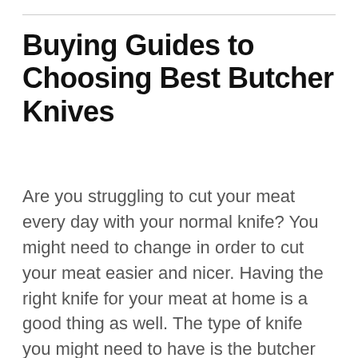Buying Guides to Choosing Best Butcher Knives
Are you struggling to cut your meat every day with your normal knife? You might need to change in order to cut your meat easier and nicer. Having the right knife for your meat at home is a good thing as well. The type of knife you might need to have is the butcher knives.